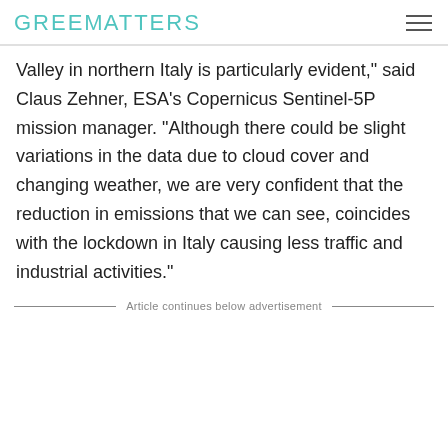GREENMATTERS
Valley in northern Italy is particularly evident," said Claus Zehner, ESA's Copernicus Sentinel-5P mission manager. "Although there could be slight variations in the data due to cloud cover and changing weather, we are very confident that the reduction in emissions that we can see, coincides with the lockdown in Italy causing less traffic and industrial activities."
Article continues below advertisement